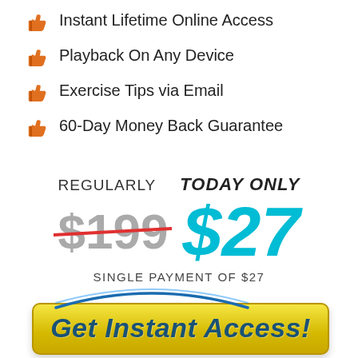Instant Lifetime Online Access
Playback On Any Device
Exercise Tips via Email
60-Day Money Back Guarantee
REGULARLY   TODAY ONLY
$199  $27
SINGLE PAYMENT OF $27
[Figure (illustration): Yellow gradient call-to-action button with blue arc/visa logo above it and text 'Get Instant Access!']